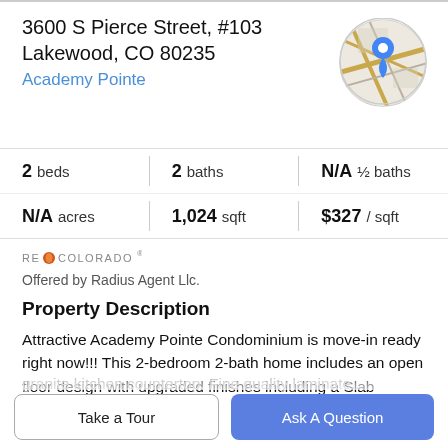3600 S Pierce Street, #103
Lakewood, CO 80235
Academy Pointe
[Figure (map): Circular map thumbnail showing street map with a blue location pin marker]
| 2 beds | 2 baths | N/A ½ baths |
| N/A acres | 1,024 sqft | $327 / sqft |
[Figure (logo): RE/Colorado logo with orange flame icon]
Offered by Radius Agent Llc.
Property Description
Attractive Academy Pointe Condominium is move-in ready right now!!! This 2-bedroom 2-bath home includes an open floor design with upgraded finishes including a Slab
granite kitchen countertop. Fine quality laminate...